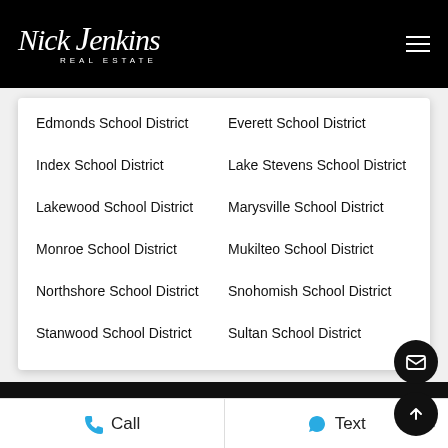Nick Jenkins Real Estate
Edmonds School District
Everett School District
Index School District
Lake Stevens School District
Lakewood School District
Marysville School District
Monroe School District
Mukilteo School District
Northshore School District
Snohomish School District
Stanwood School District
Sultan School District
Call   Text